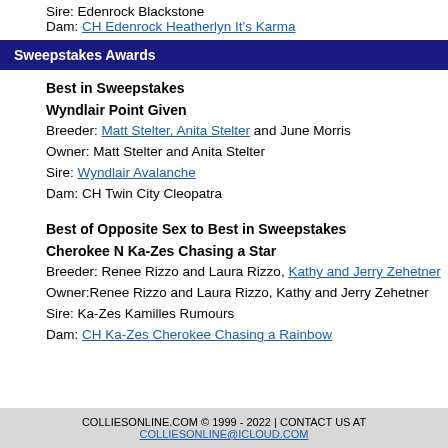Sire: Edenrock Blackstone
Dam: CH Edenrock Heatherlyn It's Karma
Sweepstakes Awards
Best in Sweepstakes
Wyndlair Point Given
Breeder: Matt Stelter, Anita Stelter and June Morris
Owner: Matt Stelter and Anita Stelter
Sire: Wyndlair Avalanche
Dam: CH Twin City Cleopatra
Best of Opposite Sex to Best in Sweepstakes
Cherokee N Ka-Zes Chasing a Star
Breeder: Renee Rizzo and Laura Rizzo, Kathy and Jerry Zehetner
Owner:Renee Rizzo and Laura Rizzo, Kathy and Jerry Zehetner
Sire: Ka-Zes Kamilles Rumours
Dam: CH Ka-Zes Cherokee Chasing a Rainbow
COLLIESONLINE.COM © 1999 - 2022 | CONTACT US AT COLLIESONLINE@ICLOUD.COM